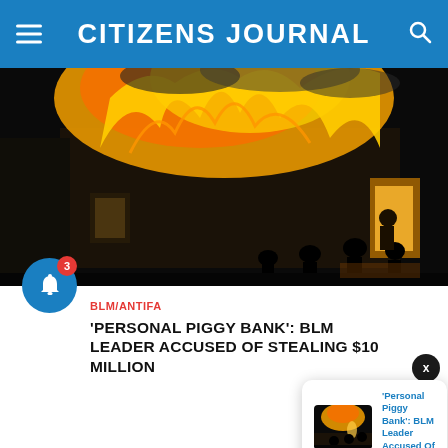CITIZENS JOURNAL
[Figure (photo): Building on fire at night with silhouettes of people in foreground, large flames and smoke visible]
BLM/ANTIFA
'PERSONAL PIGGY BANK': BLM LEADER ACCUSED OF STEALING $10 MILLION
[Figure (screenshot): Popup notification card with thumbnail of fire photo and text: 'Personal Piggy Bank': BLM Leader Accused Of — 1 hour ago]
[Figure (photo): Aerial landscape view of green hills and coastline]